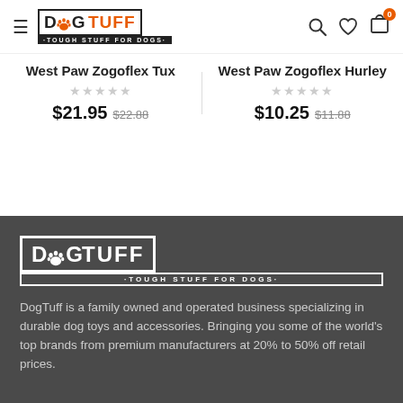DogTuff - Tough Stuff For Dogs
West Paw Zogoflex Tux
☆☆☆☆☆
$21.95  $22.88
West Paw Zogoflex Hurley
☆☆☆☆☆
$10.25  $11.88
[Figure (logo): DogTuff logo - white text with paw print on dark background, subtitle: TOUGH STUFF FOR DOGS]
DogTuff is a family owned and operated business specializing in durable dog toys and accessories. Bringing you some of the world's top brands from premium manufacturers at 20% to 50% off retail prices.